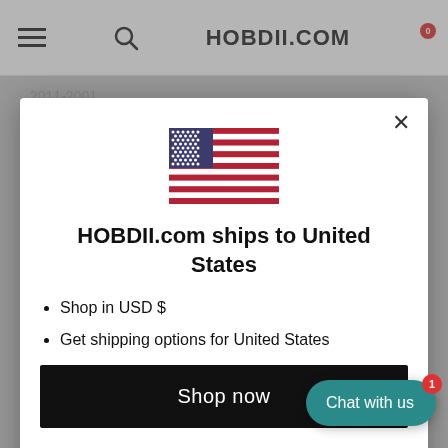HOBDII.COM
[Figure (screenshot): US flag emoji / icon displayed in modal dialog]
HOBDII.com ships to United States
Shop in USD $
Get shipping options for United States
Shop now
Change shipping country
Chat with us